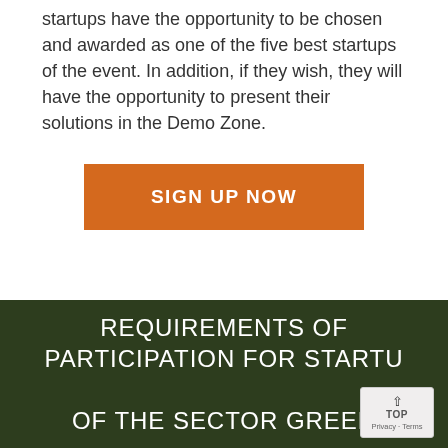startups have the opportunity to be chosen and awarded as one of the five best startups of the event. In addition, if they wish, they will have the opportunity to present their solutions in the Demo Zone.
[Figure (other): Orange button labeled SIGN UP NOW]
REQUIREMENTS OF PARTICIPATION FOR STARTUPS OF THE SECTOR GREEN